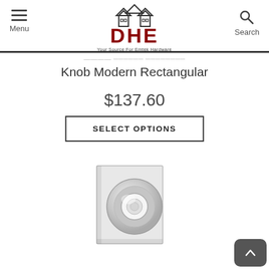Menu | DHE - Your Source For Emtek Hardware | Search
Knob Modern Rectangular
$137.60
SELECT OPTIONS
[Figure (photo): A polished nickel door knob with a circular crystal/glass knob face mounted on a square modern rectangular backplate, photographed on white background.]